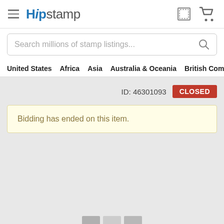[Figure (logo): HipStamp website logo with hamburger menu icon and shopping cart icon]
Search millions of stamp listings...
United States  Africa  Asia  Australia & Oceania  British Commonwealth  Cana
ID: 46301093  CLOSED
Bidding has ended on this item.